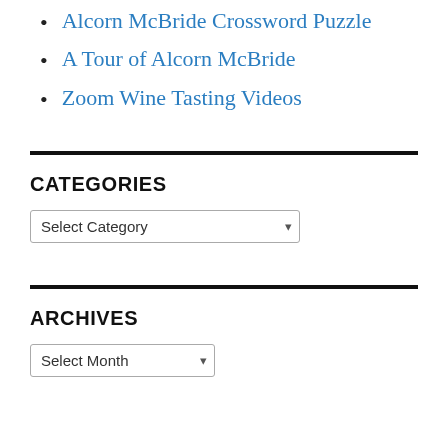Alcorn McBride Crossword Puzzle
A Tour of Alcorn McBride
Zoom Wine Tasting Videos
CATEGORIES
Select Category
ARCHIVES
Select Month